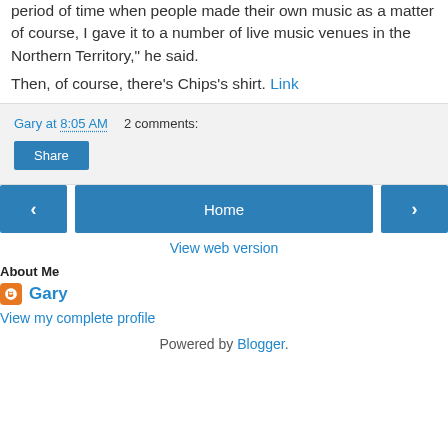period of time when people made their own music as a matter of course, I gave it to a number of live music venues in the Northern Territory," he said.
Then, of course, there's Chips's shirt. Link
Gary at 8:05 AM   2 comments:
Share
Home
View web version
About Me
Gary
View my complete profile
Powered by Blogger.